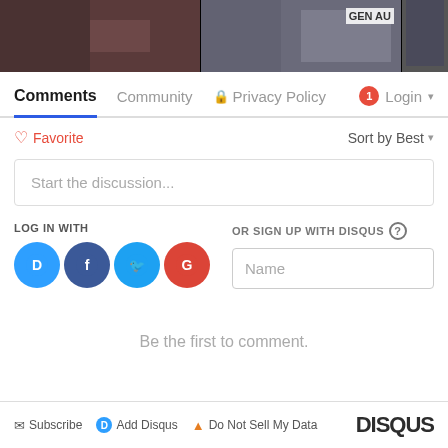[Figure (screenshot): Two video thumbnail images side by side at top: left shows 'Resigning ...' text overlay, right shows 'Iraq ...' text overlay with 'GEN AU' watermark visible]
Comments   Community   🔒 Privacy Policy   🔴1 Login ▾
♡ Favorite    Sort by Best ▾
Start the discussion...
LOG IN WITH
OR SIGN UP WITH DISQUS ?
Name
Be the first to comment.
✉ Subscribe   D Add Disqus   ⚠ Do Not Sell My Data   DISQUS